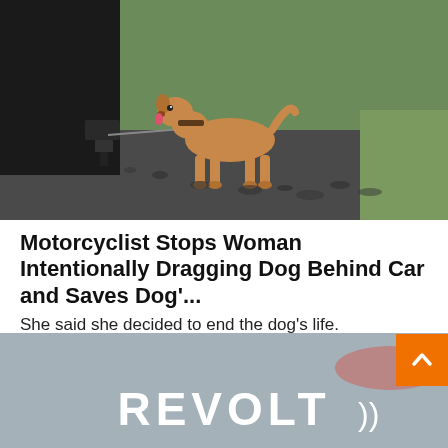[Figure (photo): A tan/brown dog tied by a leash to the rear of a dark vehicle (truck/car hitch), standing on pavement with blurred marks, against a green background (vegetation). The dog appears distressed.]
Motorcyclist Stops Woman Intentionally Dragging Dog Behind Car and Saves Dog'...
She said she decided to end the dog's life.
DogHeirs
[Figure (screenshot): Partial screenshot showing the REVOLT TV logo text in white bold letters on a gray/foggy background, with a reddish light blur in the upper right area.]